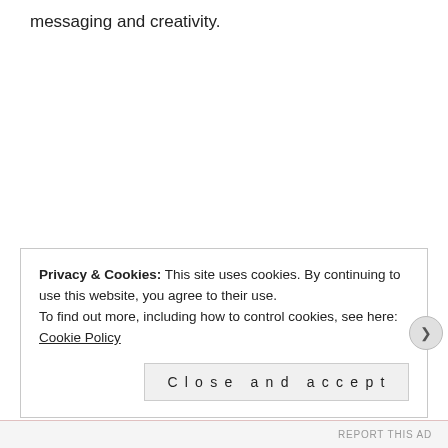messaging and creativity.
Advertising Agency, Bath and Bristol marketing company., Graphic Design
Advertising Agency, Bath and Bristol marketing company., Graphic Design
Privacy & Cookies: This site uses cookies. By continuing to use this website, you agree to their use.
To find out more, including how to control cookies, see here: Cookie Policy
Close and accept
REPORT THIS AD